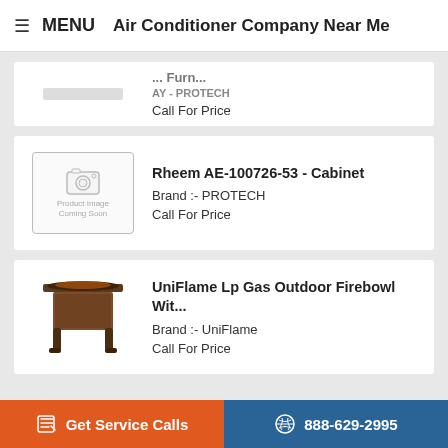≡ MENU   Air Conditioner Company Near Me
Call For Price
Rheem AE-100726-53 - Cabinet
Brand :- PROTECH
Call For Price
UniFlame Lp Gas Outdoor Firebowl Wit...
Brand :- UniFlame
Call For Price
DIY - Inspection Flame Sensor - Steps
Step 1: Locate the flame sensor on the gas-
Get Service Calls   888-629-2995